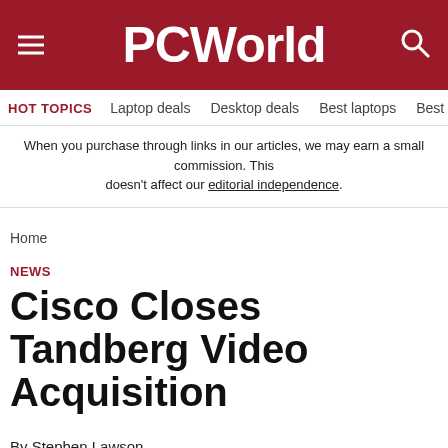PCWorld
HOT TOPICS  Laptop deals  Desktop deals  Best laptops  Best ch
When you purchase through links in our articles, we may earn a small commission. This doesn't affect our editorial independence.
Home
NEWS
Cisco Closes Tandberg Video Acquisition
By Stephen Lawson
PCWorld | APR 19, 2010 7:00 PM PDT